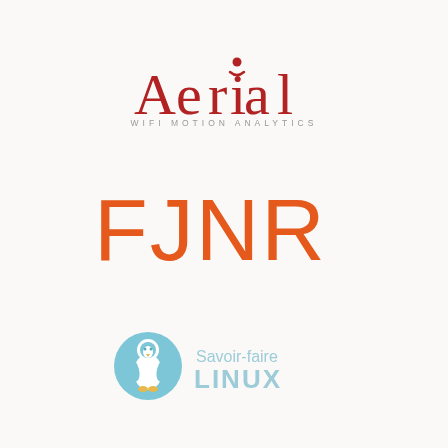[Figure (logo): Aerial WiFi Motion Analytics logo - red serif text reading 'Aerial' with a small person icon as the dot above the 'i', and subtitle 'WIFI MOTION ANALYTICS' in small gray spaced caps]
[Figure (logo): FJNR logo - large orange sans-serif uppercase letters 'FJNR' in thin weight]
[Figure (logo): Savoir-faire Linux logo - light blue circle with white penguin silhouette, beside text 'Savoir-faire' in light blue and 'LINUX' in bold light blue caps]